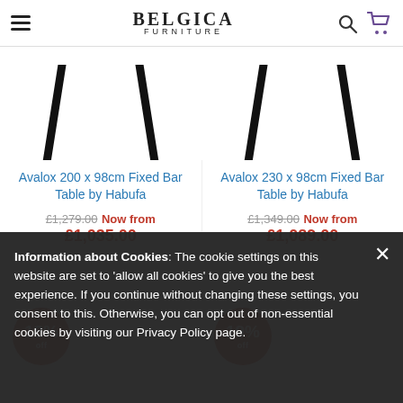BELGICA FURNITURE
[Figure (photo): Product image: table legs visible for Avalox 200 x 98cm Fixed Bar Table by Habufa]
Avalox 200 x 98cm Fixed Bar Table by Habufa
£1,279.00 Now from £1,035.00
[Figure (photo): Product image: table legs visible for Avalox 230 x 98cm Fixed Bar Table by Habufa]
Avalox 230 x 98cm Fixed Bar Table by Habufa
£1,349.00 Now from £1,089.00
[Figure (infographic): Red circular badge showing 18% off discount]
[Figure (infographic): Red circular badge showing 19% off discount]
Information about Cookies: The cookie settings on this website are set to 'allow all cookies' to give you the best experience. If you continue without changing these settings, you consent to this. Otherwise, you can opt out of non-essential cookies by visiting our Privacy Policy page.